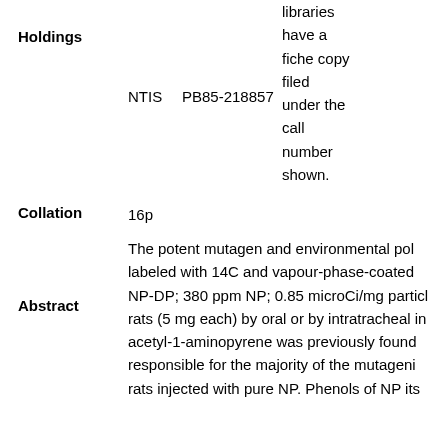Holdings
NTIS    PB85-218857    libraries have a fiche copy filed under the call number shown.
Collation    16p
Abstract    The potent mutagen and environmental pol labeled with 14C and vapour-phase-coated NP-DP; 380 ppm NP; 0.85 microCi/mg particl rats (5 mg each) by oral or by intratracheal in acetyl-1-aminopyrene was previously found responsible for the majority of the mutageni rats injected with pure NP. Phenols of NP its